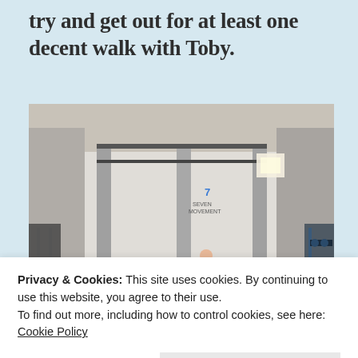try and get out for at least one decent walk with Toby.
[Figure (photo): Indoor gym scene with multiple people exercising on black rubber floor mats. People are doing various exercises including bench press and floor exercises. Gym equipment including barbells and cones visible. A logo on the wall reads 'Seven Movement'.]
Privacy & Cookies: This site uses cookies. By continuing to use this website, you agree to their use.
To find out more, including how to control cookies, see here: Cookie Policy
Close and accept